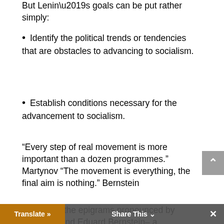But Lenin’s goals can be put rather simply:
Identify the political trends or tendencies that are obstacles to advancing to socialism.
Establish conditions necessary for the advancement to socialism.
“Every step of real movement is more important than a dozen programmes.” Martynov “The movement is everything, the final aim is nothing.” Bernstein
For Lenin, the epigrams pronounced by Martynov and Eduard Bernstein– a